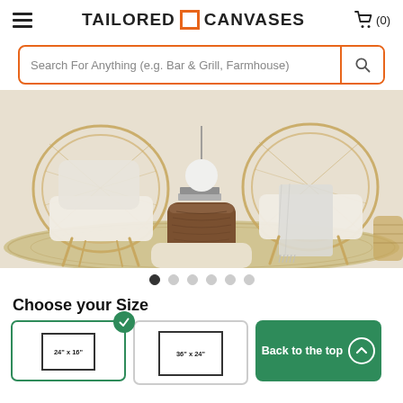Tailored Canvases
[Figure (screenshot): Search bar with orange border, placeholder text: Search For Anything (e.g. Bar & Grill, Farmhouse), and a search icon button]
[Figure (photo): Interior lifestyle photo showing two rattan peacock chairs with white cushions, a wooden stump side table, a white globe lamp, books, and a beige woven rug with floor cushions]
Choose your Size
[Figure (screenshot): Three size selection cards: first selected (24x16), second (36x24), and a Back to the top button]